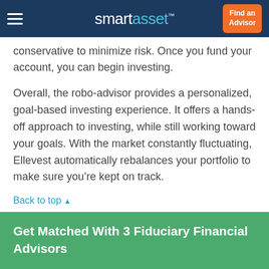smartasset™ | Find an Advisor
conservative to minimize risk. Once you fund your account, you can begin investing.
Overall, the robo-advisor provides a personalized, goal-based investing experience. It offers a hands-off approach to investing, while still working toward your goals. With the market constantly fluctuating, Ellevest automatically rebalances your portfolio to make sure you're kept on track.
Back to top ▲
Get Matched With 3 Fiduciary Financial Advisors